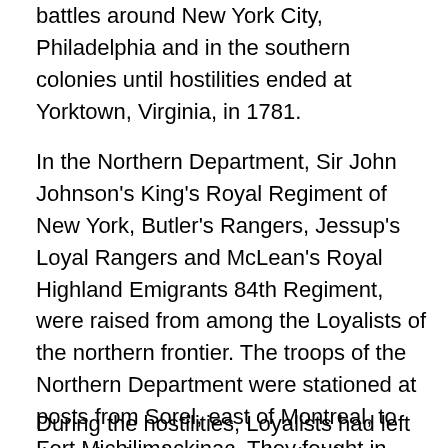battles around New York City, Philadelphia and in the southern colonies until hostilities ended at Yorktown, Virginia, in 1781.
In the Northern Department, Sir John Johnson's King's Royal Regiment of New York, Butler's Rangers, Jessup's Loyal Rangers and McLean's Royal Highland Emigrants 84th Regiment, were raised from among the Loyalists of the northern frontier. The troops of the Northern Department were stationed at posts from Sorel, east of Montreal, to Fort Michilimackinac. They fought in General Burgoyne's campaign that ended at Saratoga and led many excursions into the Mohawk Valley of New York Province. In most of these forays they were joined by Iroquois Indians led by legendary chiefs such as Joseph Brant and John Deseronto.
During the hostilities, Loyalists had left the colonies for England, Florida, Jamaica, the Bahamas, Nova Scotia and...